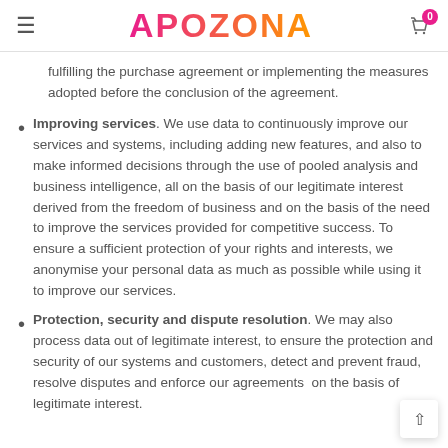APOZONA
fulfilling the purchase agreement or implementing the measures adopted before the conclusion of the agreement.
Improving services. We use data to continuously improve our services and systems, including adding new features, and also to make informed decisions through the use of pooled analysis and business intelligence, all on the basis of our legitimate interest derived from the freedom of business and on the basis of the need to improve the services provided for competitive success. To ensure a sufficient protection of your rights and interests, we anonymise your personal data as much as possible while using it to improve our services.
Protection, security and dispute resolution. We may also process data out of legitimate interest, to ensure the protection and security of our systems and customers, detect and prevent fraud, resolve disputes and enforce our agreements on the basis of legitimate interest.